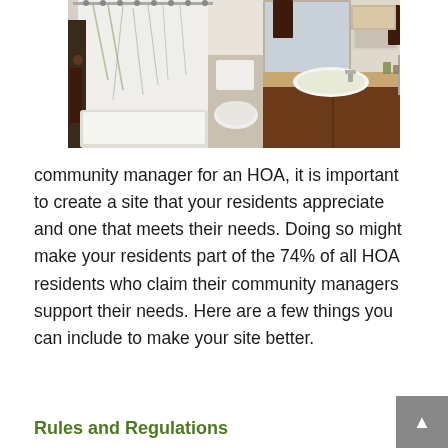[Figure (photo): Interior photo of a bathroom showing a bathtub with a white shower curtain featuring a leaf/branch pattern, a toilet, a vanity sink with a tan/beige countertop, dark wood cabinetry, dark brown towels, a medicine cabinet mirror, and shelving above the toilet.]
community manager for an HOA, it is important to create a site that your residents appreciate and one that meets their needs. Doing so might make your residents part of the 74% of all HOA residents who claim their community managers support their needs. Here are a few things you can include to make your site better.
Rules and Regulations